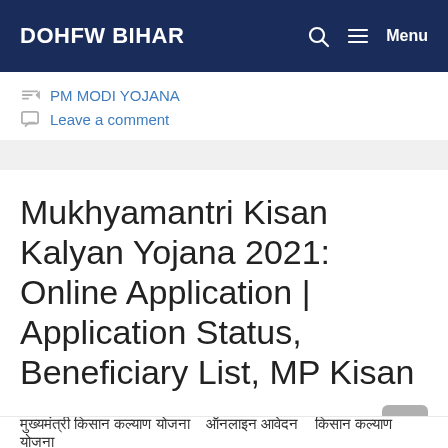DOHFW BIHAR
PM MODI YOJANA
Leave a comment
Mukhyamantri Kisan Kalyan Yojana 2021: Online Application | Application Status, Beneficiary List, MP Kisan
October 20, 2021
मुख्यमंत्री किसान कल्याण योजना ऑनलाइन आवेदन